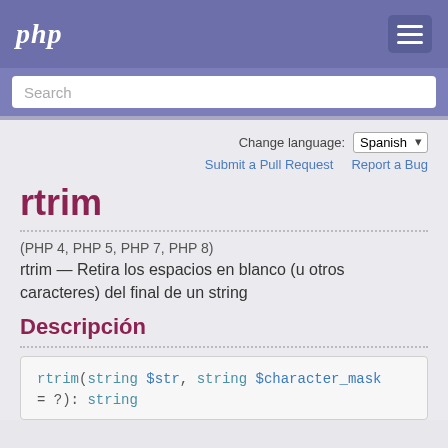php
Search
Change language: Spanish
Submit a Pull Request   Report a Bug
rtrim
(PHP 4, PHP 5, PHP 7, PHP 8)
rtrim — Retira los espacios en blanco (u otros caracteres) del final de un string
Descripción